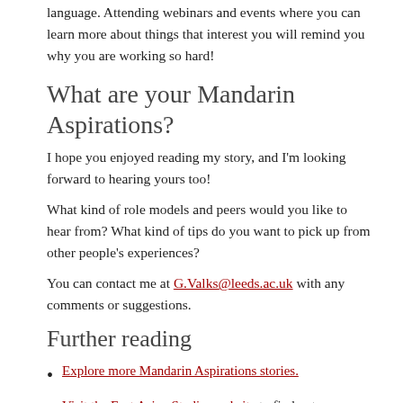language. Attending webinars and events where you can learn more about things that interest you will remind you why you are working so hard!
What are your Mandarin Aspirations?
I hope you enjoyed reading my story, and I'm looking forward to hearing yours too!
What kind of role models and peers would you like to hear from? What kind of tips do you want to pick up from other people's experiences?
You can contact me at G.Valks@leeds.ac.uk with any comments or suggestions.
Further reading
Explore more Mandarin Aspirations stories.
Visit the East Asian Studies website to find out more about studying Chinese at the University of Leeds.
Find out more about support and opportunities offered by the BCI to undergraduates learning Chinese.